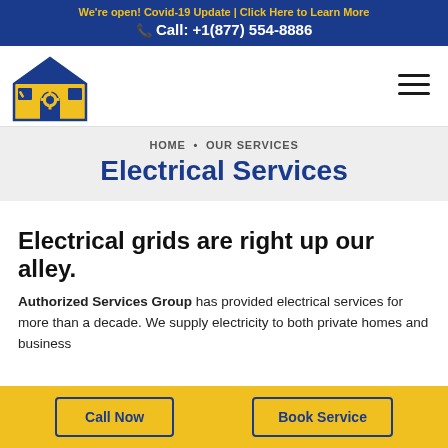We're open! Covid-19 Update | Click Here to Learn More
Call: +1(877) 554-8886
[Figure (logo): Authorized Services Group logo: house icon with tools and gears in blue and yellow]
HOME • OUR SERVICES
Electrical Services
Electrical grids are right up our alley.
Authorized Services Group has provided electrical services for more than a decade. We supply electricity to both private homes and business
Call Now    Book Service